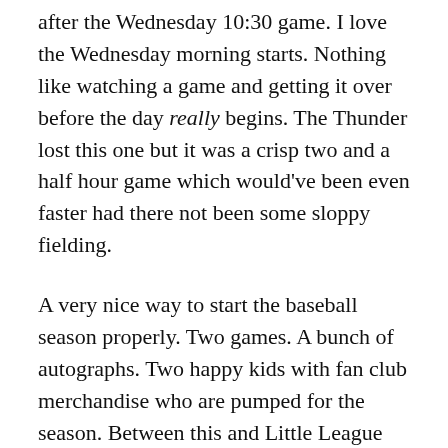Albert Abreu is a good signer and I got him after the Wednesday 10:30 game. I love the Wednesday morning starts. Nothing like watching a game and getting it over before the day really begins. The Thunder lost this one but it was a crisp two and a half hour game which would've been even faster had there not been some sloppy fielding.
A very nice way to start the baseball season properly. Two games. A bunch of autographs. Two happy kids with fan club merchandise who are pumped for the season. Between this and Little League there's been a lot of baseball going on in the house and this spring feels like it will turn into a good summer.